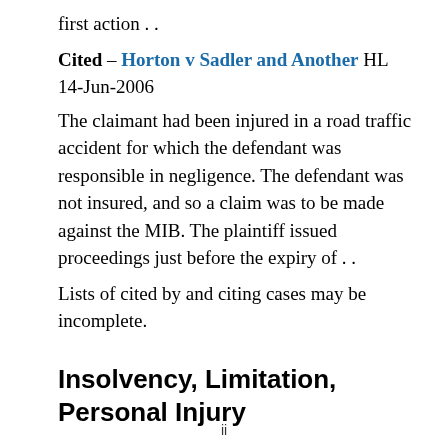first action . .
Cited – Horton v Sadler and Another HL 14-Jun-2006
The claimant had been injured in a road traffic accident for which the defendant was responsible in negligence. The defendant was not insured, and so a claim was to be made against the MIB. The plaintiff issued proceedings just before the expiry of . .
Lists of cited by and citing cases may be incomplete.
Insolvency, Limitation, Personal Injury
ii